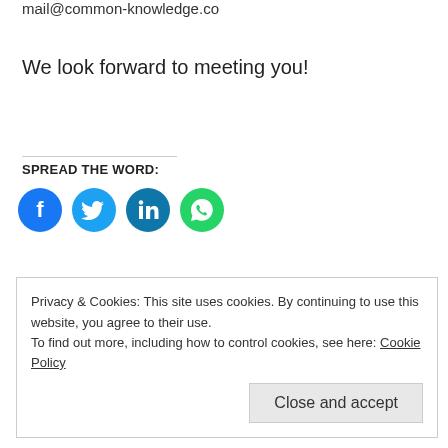mail@common-knowledge.co
We look forward to meeting you!
SPREAD THE WORD:
[Figure (illustration): Four circular social media share buttons: Facebook (blue), Twitter (light blue), LinkedIn (teal/dark blue), WhatsApp (green)]
Privacy & Cookies: This site uses cookies. By continuing to use this website, you agree to their use. To find out more, including how to control cookies, see here: Cookie Policy
Close and accept